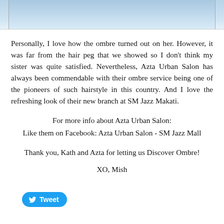[Figure (photo): Partial photo of a person wearing a light blue top, cropped to show only the torso area. The background is blurred.]
Personally, I love how the ombre turned out on her. However, it was far from the hair peg that we showed so I don't think my sister was quite satisfied. Nevertheless, Azta Urban Salon has always been commendable with their ombre service being one of the pioneers of such hairstyle in this country. And I love the refreshing look of their new branch at SM Jazz Makati.
For more info about Azta Urban Salon:
Like them on Facebook: Azta Urban Salon - SM Jazz Mall
Thank you, Kath and Azta for letting us Discover Ombre!
XO, Mish